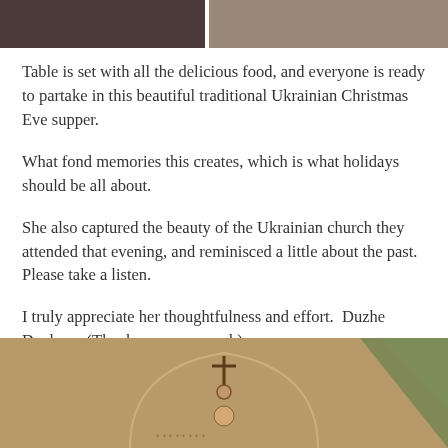[Figure (photo): Top strip showing two photos: left is a close-up photo (darker), right is a photo of people around a table with food]
Table is set with all the delicious food, and everyone is ready to partake in this beautiful traditional Ukrainian Christmas Eve supper.
What fond memories this creates, which is what holidays should be all about.
She also captured the beauty of the Ukrainian church they attended that evening, and reminisced a little about the past. Please take a listen.
I truly appreciate her thoughtfulness and effort.  Duzhe Dyakuyu (Thank you very much).
[Figure (photo): Interior of a Ukrainian church showing an arched ceiling with a cross, decorative icons, and colorful painted murals with green triangular pattern on the right]